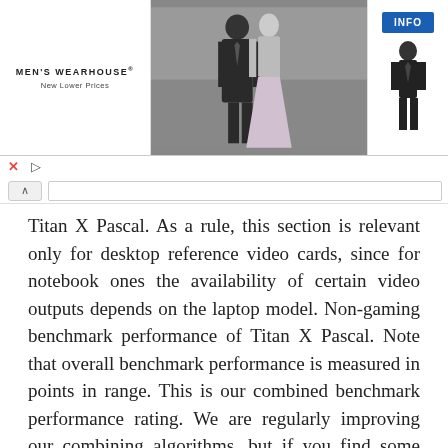[Figure (photo): Men's Wearhouse advertisement banner featuring a couple in formal wear (man in dark suit, woman in formal dress) and a man in a tuxedo on the right side, with INFO button]
Titan X Pascal. As a rule, this section is relevant only for desktop reference video cards, since for notebook ones the availability of certain video outputs depends on the laptop model. Non-gaming benchmark performance of Titan X Pascal. Note that overall benchmark performance is measured in points in range. This is our combined benchmark performance rating. We are regularly improving our combining algorithms, but if you find some perceived inconsistencies, feel free to speak up in comments section, we usually fix problems quickly.
Cloud Gate is an outdated DirectX 11 feature level 10 benchmark that was used for home PCs and basic